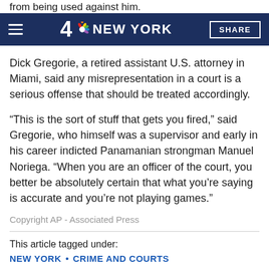from being used against him.
4 NBC NEW YORK | SHARE
Dick Gregorie, a retired assistant U.S. attorney in Miami, said any misrepresentation in a court is a serious offense that should be treated accordingly.
“This is the sort of stuff that gets you fired,” said Gregorie, who himself was a supervisor and early in his career indicted Panamanian strongman Manuel Noriega. “When you are an officer of the court, you better be absolutely certain that what you’re saying is accurate and you’re not playing games.”
Copyright AP - Associated Press
This article tagged under:
NEW YORK • CRIME AND COURTS